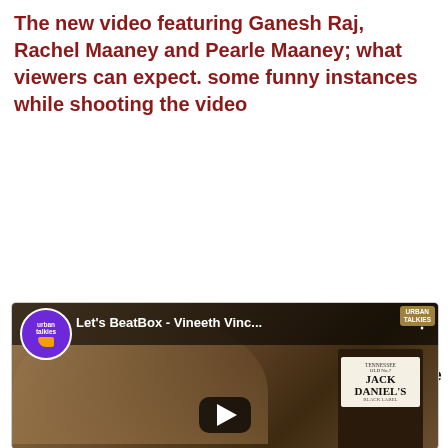The new video featuring Ganesh Raj, Rachel Maaney and Pearle Maaney; what viewers can expect. some funny instances while shooting the video
The most interesting thing from that shoot was to find out that the 3 of these humans are very down to earth and approachable. Pearle and Ganesh was at the Under 25.
Do subscribe to www.youtube.com/channel/UCNmrpvleNjc9jsw6lO7Dj9Q to watch more of Vineeth, the entertainer.
[Figure (screenshot): YouTube video thumbnail for 'Let's BeatBox - Vineeth Vinc...' with Urban Talkies channel logo, play button, and a person leaning over a table next to a Jack Daniel's bottle]